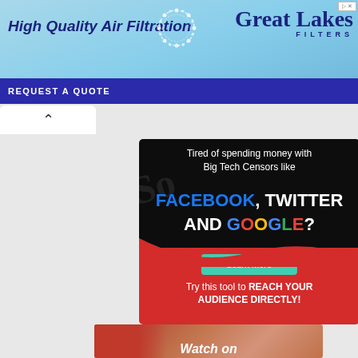[Figure (infographic): Great Lakes Filters banner advertisement: 'High Quality Air Filtration' with logo and 'REQUEST A QUOTE' button on sky blue background]
[Figure (infographic): Dark background ad: 'Tired of spending money with Big Tech Censors like FACEBOOK, TWITTER AND GOOGLE? Learn More' with red bottom section 'Try this tool to REACH YOUR AUDIENCE DIRECTLY!']
[Figure (photo): Bottom portion of an image showing a person's face with red background overlay and text 'Watch on']